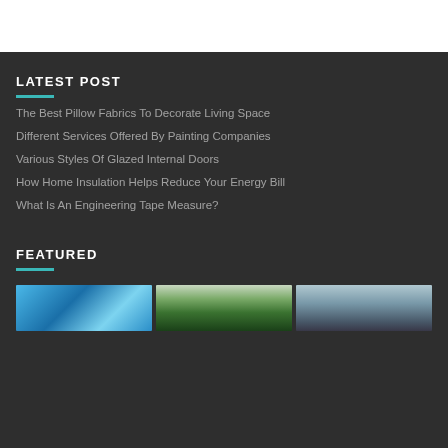LATEST POST
The Best Pillow Fabrics To Decorate Living Space
Different Services Offered By Painting Companies
Various Styles Of Glazed Internal Doors
How Home Insulation Helps Reduce Your Energy Bill
What Is An Engineering Tape Measure?
FEATURED
[Figure (photo): Three thumbnail photos side by side: blue water/bubbles, trees in mist, ocean rocks in fog]